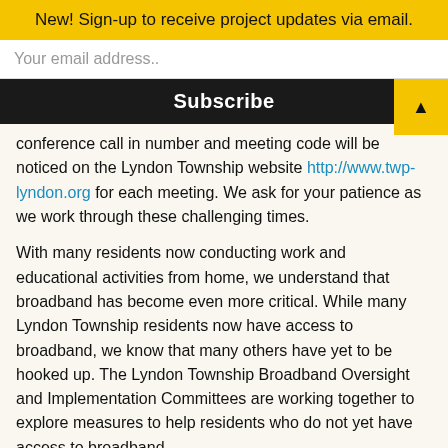New! Sign-up to receive project updates via email.
Your email address..
Subscribe
conference call in number and meeting code will be noticed on the Lyndon Township website http://www.twp-lyndon.org for each meeting. We ask for your patience as we work through these challenging times.
With many residents now conducting work and educational activities from home, we understand that broadband has become even more critical. While many Lyndon Township residents now have access to broadband, we know that many others have yet to be hooked up. The Lyndon Township Broadband Oversight and Implementation Committees are working together to explore measures to help residents who do not yet have access to broadband.
WiFi at the Township Hall
The WiFi at the Township Hall is available for public use.